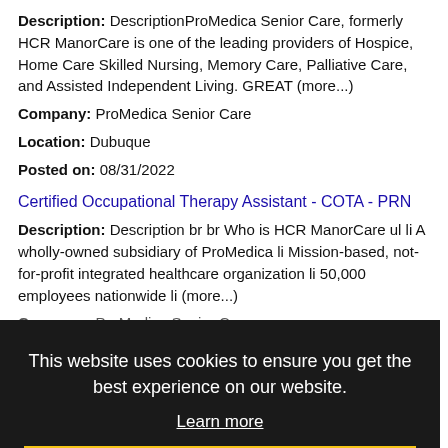Description: DescriptionProMedica Senior Care, formerly HCR ManorCare is one of the leading providers of Hospice, Home Care Skilled Nursing, Memory Care, Palliative Care, and Assisted Independent Living. GREAT (more...)
Company: ProMedica Senior Care
Location: Dubuque
Posted on: 08/31/2022
Certified Occupational Therapy Assistant - COTA - PRN
Description: Description br br Who is HCR ManorCare ul li A wholly-owned subsidiary of ProMedica li Mission-based, not-for-profit integrated healthcare organization li 50,000 employees nationwide li (more...)
Company: ProMedica Senior Care
Location: Dubuque
Posted on: 09/01/2022
Consumer Loan Sales Specialist
Description: PUT YOUR CAREER IN MOTION AS A CONSUMER LOAN SALES SPECIALIST - At OneMain, Consumer Loan Sales Specialists empower customers - listening to their needs and providing access to friendly, fast, and affordable (more...)
Company: OneMain Financial
Location: Dubuque
This website uses cookies to ensure you get the best experience on our website.
Learn more
Got it!